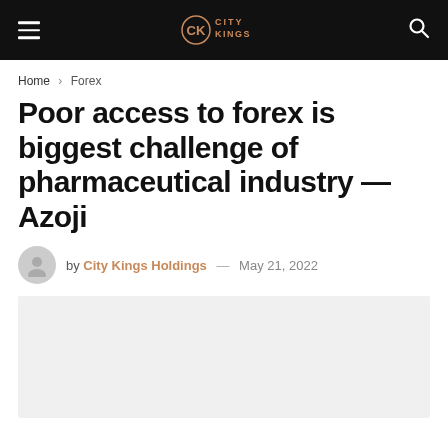City Kings — Navigation header with hamburger menu, logo, and search icon
Home › Forex
Poor access to forex is biggest challenge of pharmaceutical industry — Azoji
by City Kings Holdings — May 21, 2022
[Figure (photo): Featured article image placeholder, light gray background]